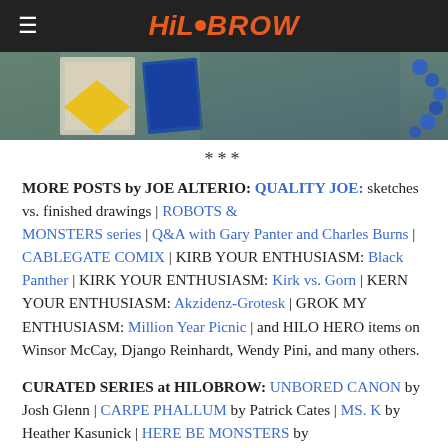HiloBrow
[Figure (photo): Partial view of a photograph showing colorful objects including what appears to be a book or card with a yellow triangle/diamond shape on a teal/green background, with blue beaded elements visible on the right edge.]
***
MORE POSTS by JOE ALTERIO: QUALITY JOE: sketches vs. finished drawings | ROBOTS & MONSTERS series | Q&A with Gary Panter and Charles Burns | CABLEGATE COMIX | KIRB YOUR ENTHUSIASM: Black Panther | KIRK YOUR ENTHUSIASM: Kirk vs. Gorn | KERN YOUR ENTHUSIASM: Akzidenz-Grotesk | GROK MY ENTHUSIASM: Million Year Picnic | and HILO HERO items on Winsor McCay, Django Reinhardt, Wendy Pini, and many others.
CURATED SERIES at HILOBROW: UNBORED CANON by Josh Glenn | CARPE PHALLUM by Patrick Cates | MS. K by Heather Kasunick | HERE BE MONSTERS by